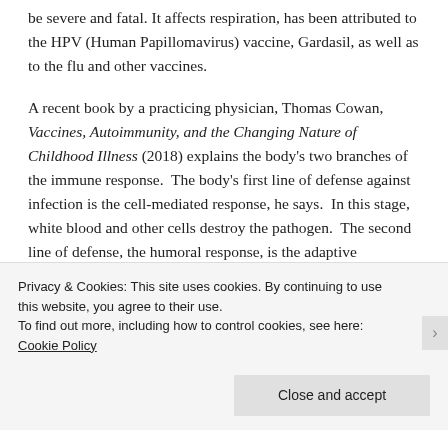be severe and fatal. It affects respiration, has been attributed to the HPV (Human Papillomavirus) vaccine, Gardasil, as well as to the flu and other vaccines.
A recent book by a practicing physician, Thomas Cowan, Vaccines, Autoimmunity, and the Changing Nature of Childhood Illness (2018) explains the body's two branches of the immune response.  The body's first line of defense against infection is the cell-mediated response, he says.  In this stage, white blood and other cells destroy the pathogen.  The second line of defense, the humoral response, is the adaptive adjustment that employs antibodies to fight future episodes of exposure. He says vaccines distort this response, because
Privacy & Cookies: This site uses cookies. By continuing to use this website, you agree to their use.
To find out more, including how to control cookies, see here: Cookie Policy
Close and accept